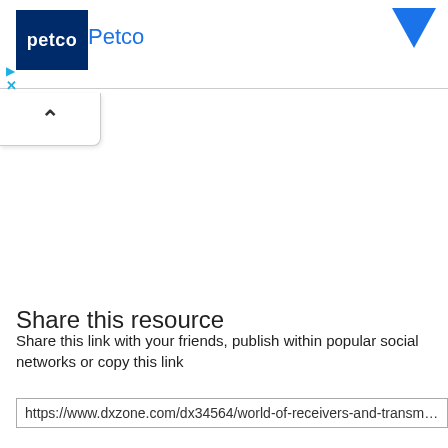[Figure (screenshot): Petco advertisement banner with dark blue logo box showing 'petco' text in white, brand name 'Petco' in blue, and a blue downward chevron arrow in top right corner. Below the ad are play and close (X) control icons in cyan/blue.]
[Figure (screenshot): Collapse/minimize button with upward caret (^) symbol in a white rounded box with border shadow.]
Share this resource
Share this link with your friends, publish within popular social networks or copy this link
https://www.dxzone.com/dx34564/world-of-receivers-and-transmitters.